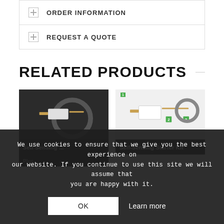+ ORDER INFORMATION
+ REQUEST A QUOTE
RELATED PRODUCTS
[Figure (photo): Product photo of Self Sensing device on dark background with cable loop]
Self Sensing ...Plus
[Figure (photo): Product photo of Self-Sensing Starter Kit with numbered components on light background]
Self-Sensing Starter Kit
We use cookies to ensure that we give you the best experience on our website. If you continue to use this site we will assume that you are happy with it.